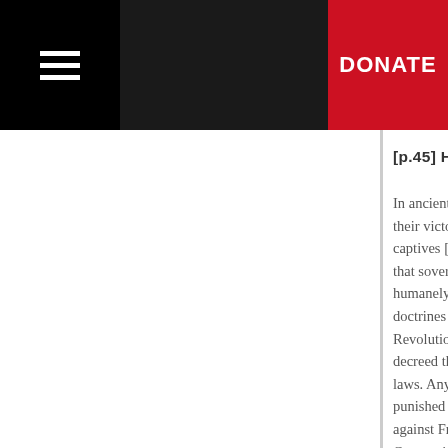☰  DONATE
[p.45] HISTORICAL AND GENERAL
In ancient times the concept of "prisone their victors who could kill them or redu captives [p.46] owed humane treatmen that sovereigns or military commanders humanely with the prisoners who fell in doctrines checked the savagery which Revolution, inspired by the idea of the decreed that "prisoners of war are und laws. Any unwarranted severity, insult, punished according to the same laws a against French citizens" (1). However, Convention of 1899 (completed and ma the States were ready to limit their resp prisoners of war, and before prisoners protecting them from arbitrary treatment invoked by them against that Power (2). At the 1899 and 1907 Peace Conferen centred around the provisions relating t